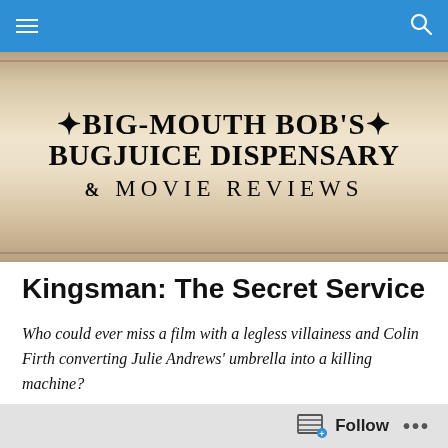Big-Mouth Bob's Bugjuice Dispensary & Movie Reviews
[Figure (logo): Decorative banner logo with ornamental text reading 'Big-Mouth Bob's Bugjuice Dispensary & Movie Reviews' on a wood-textured background]
Kingsman: The Secret Service
Who could ever miss a film with a legless villainess and Colin Firth converting Julie Andrews' umbrella into a killing machine?
[Figure (screenshot): Dark horizontal strip showing the top of a movie scene image]
Follow